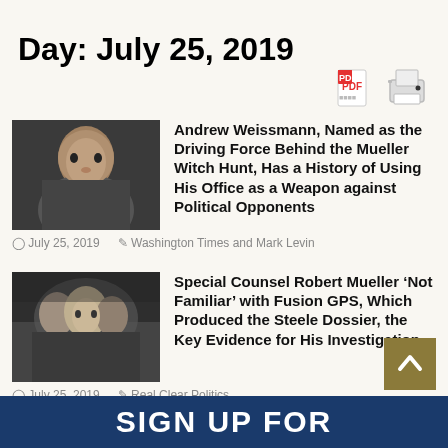Day: July 25, 2019
[Figure (other): PDF and print icons]
[Figure (photo): Photo of Andrew Weissmann]
Andrew Weissmann, Named as the Driving Force Behind the Mueller Witch Hunt, Has a History of Using His Office as a Weapon against Political Opponents
July 25, 2019   Washington Times and Mark Levin
[Figure (photo): Photo of Robert Mueller testifying]
Special Counsel Robert Mueller ‘Not Familiar’ with Fusion GPS, Which Produced the Steele Dossier, the Key Evidence for His Investigation
July 25, 2019   Real Clear Politics
SIGN UP FOR